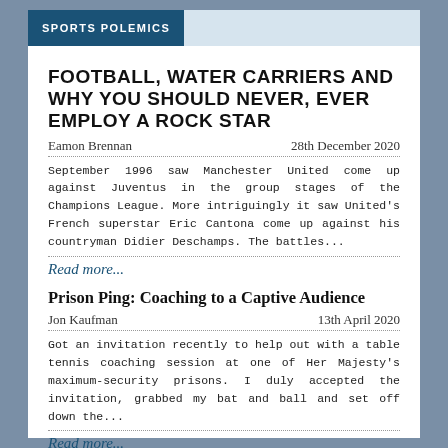SPORTS POLEMICS
FOOTBALL, WATER CARRIERS AND WHY YOU SHOULD NEVER, EVER EMPLOY A ROCK STAR
Eamon Brennan    28th December 2020
September 1996 saw Manchester United come up against Juventus in the group stages of the Champions League. More intriguingly it saw United's French superstar Eric Cantona come up against his countryman Didier Deschamps. The battles...
Read more...
Prison Ping: Coaching to a Captive Audience
Jon Kaufman    13th April 2020
Got an invitation recently to help out with a table tennis coaching session at one of Her Majesty's maximum-security prisons. I duly accepted the invitation, grabbed my bat and ball and set off down the...
Read more...